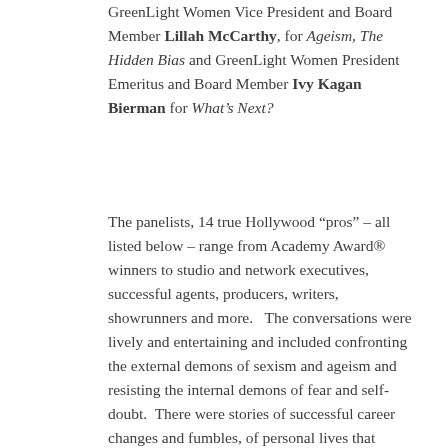GreenLight Women Vice President and Board Member Lillah McCarthy, for Ageism, The Hidden Bias and GreenLight Women President Emeritus and Board Member Ivy Kagan Bierman for What's Next?
The panelists, 14 true Hollywood “pros” – all listed below – range from Academy Award® winners to studio and network executives, successful agents, producers, writers, showrunners and more.   The conversations were lively and entertaining and included confronting the external demons of sexism and ageism and resisting the internal demons of fear and self-doubt.  There were stories of successful career changes and fumbles, of personal lives that disrupted or enhanced the